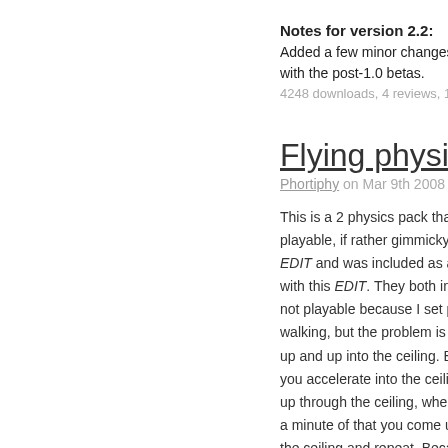Notes for version 2.2:
Added a few minor changes, i... with the post-1.0 betas.
4248 downloads, 4 reviews, 1...
Flying physics V2
Phortiphy on Mar 9th 2008
This is a 2 physics pack that I... playable, if rather gimmicky. Th... EDIT and was included as an... with this EDIT. They both invol... not playable because I set play... walking, but the problem is tha... up and up into the ceiling. Bec... you accelerate into the ceiling... up through the ceiling, where e... a minute of that you come up t... the ceiling and repeat. Becaus... to respawn.
There. Do what you will with...